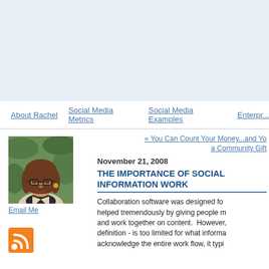About Rachel   Social Media Metrics   Social Media Examples   Enterpr...
[Figure (photo): Portrait photo of a woman with glasses and brown hair, in front of green foliage, wearing a light jacket.]
Email Me
[Figure (logo): RSS feed orange icon]
« You Can Count Your Money...and You a Community Gift
November 21, 2008
THE IMPORTANCE OF SOCIAL INFORMATION WORK
Collaboration software was designed for helped tremendously by giving people m and work together on content. However, definition - is too limited for what informa acknowledge the entire work flow, it typi